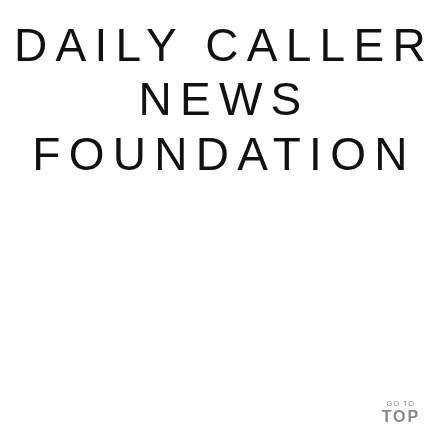DAILY CALLER NEWS FOUNDATION
GO TO TOP